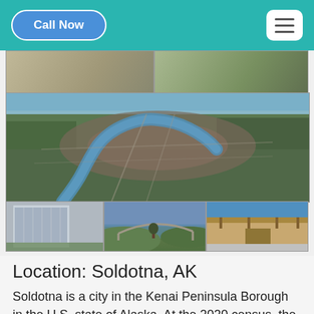Call Now
[Figure (photo): Photo collage of Soldotna, AK: top row shows two ground-level photos of buildings/landscape, middle shows an aerial view of the city with a river running through it, bottom row shows three photos including a modern glass building, a bridge over water, and a wood-frame building entrance.]
Location: Soldotna, AK
Soldotna is a city in the Kenai Peninsula Borough in the U.S. state of Alaska. At the 2020 census, the population was 4,342, up